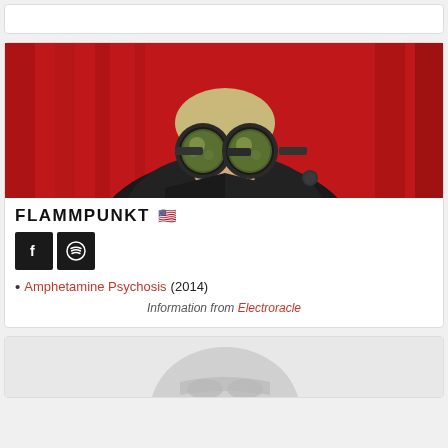[Figure (photo): Artist profile photo of Flammpunkt: person with large round steampunk goggles and dark jacket against a red drape background]
FLAMMPUNKT 🇺🇸
[Figure (other): Social media buttons: Facebook (f) and Spotify icons, dark square buttons]
• Amphetamine Psychosis (2014)
Information from Electroracle
[Figure (photo): Partial artist profile photo at bottom of page, light grey tones with silhouette/helmet shape visible]